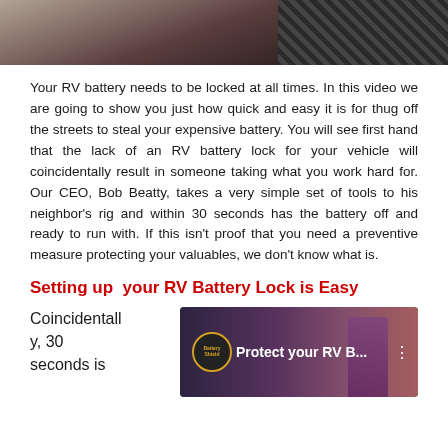[Figure (photo): Top banner image showing a person and dark background with a hatched pattern on the right]
Your RV battery needs to be locked at all times. In this video we are going to show you just how quick and easy it is for thug off the streets to steal your expensive battery. You will see first hand that the lack of an RV battery lock for your vehicle will coincidentally result in someone taking what you work hard for. Our CEO, Bob Beatty, takes a very simple set of tools to his neighbor's rig and within 30 seconds has the battery off and ready to run with. If this isn't proof that you need a preventive measure protecting your valuables, we don't know what is.
Setting up  your RV Battery Lock is Easy
Coincidentally, 30 seconds is
[Figure (screenshot): Video thumbnail showing 'Protect your RV B...' with a circular logo on the left and a person in the background]